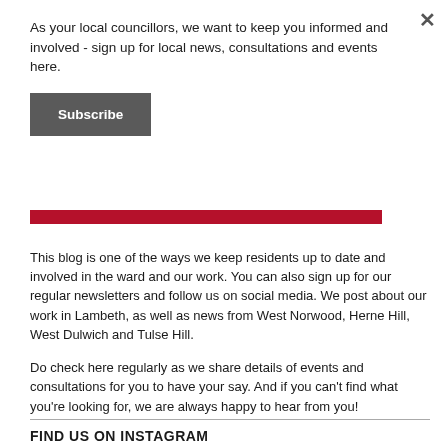As your local councillors, we want to keep you informed and involved - sign up for local news, consultations and events here.
Subscribe
This blog is one of the ways we keep residents up to date and involved in the ward and our work. You can also sign up for our regular newsletters and follow us on social media. We post about our work in Lambeth, as well as news from West Norwood, Herne Hill, West Dulwich and Tulse Hill.
Do check here regularly as we share details of events and consultations for you to have your say. And if you can't find what you're looking for, we are always happy to hear from you!
FIND US ON INSTAGRAM